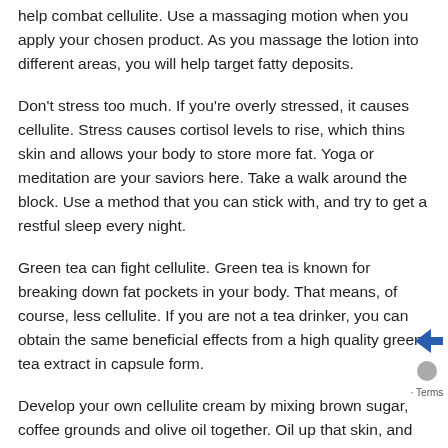help combat cellulite. Use a massaging motion when you apply your chosen product. As you massage the lotion into different areas, you will help target fatty deposits.
Don't stress too much. If you're overly stressed, it causes cellulite. Stress causes cortisol levels to rise, which thins skin and allows your body to store more fat. Yoga or meditation are your saviors here. Take a walk around the block. Use a method that you can stick with, and try to get a restful sleep every night.
Green tea can fight cellulite. Green tea is known for breaking down fat pockets in your body. That means, of course, less cellulite. If you are not a tea drinker, you can obtain the same beneficial effects from a high quality green tea extract in capsule form.
Develop your own cellulite cream by mixing brown sugar, coffee grounds and olive oil together. Oil up that skin, and then simply rub the coffee and sugar...